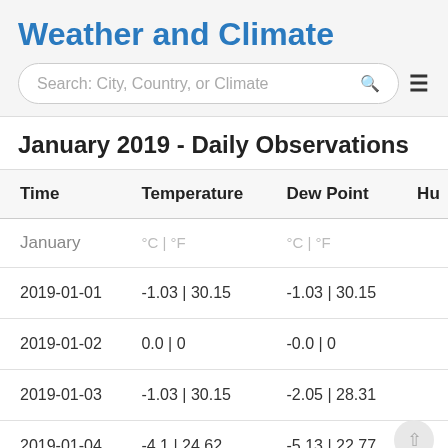Weather and Climate
January 2019 - Daily Observations
| Time | Temperature | Dew Point | Hu |
| --- | --- | --- | --- |
| January | °C | °F | °C | °F |  |
| 2019-01-01 | -1.03 | 30.15 | -1.03 | 30.15 |  |
| 2019-01-02 | 0.0 | 0 | -0.0 | 0 |  |
| 2019-01-03 | -1.03 | 30.15 | -2.05 | 28.31 |  |
| 2019-01-04 | -4.1 | 24.62 | -5.13 | 22.77 |  |